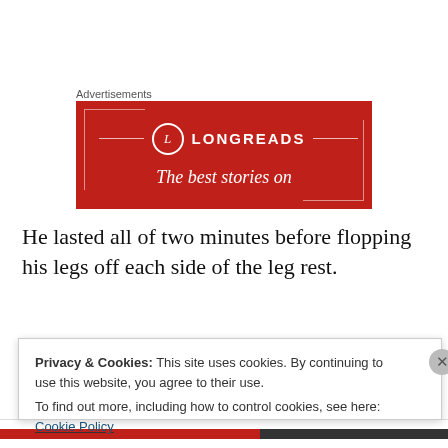Advertisements
[Figure (screenshot): Longreads advertisement banner with red background showing the Longreads logo and tagline 'The best stories on']
He lasted all of two minutes before flopping his legs off each side of the leg rest.
“It’s a terrible design.  It cuts off the blood circulation.”
Privacy & Cookies: This site uses cookies. By continuing to use this website, you agree to their use.
To find out more, including how to control cookies, see here: Cookie Policy
Close and accept